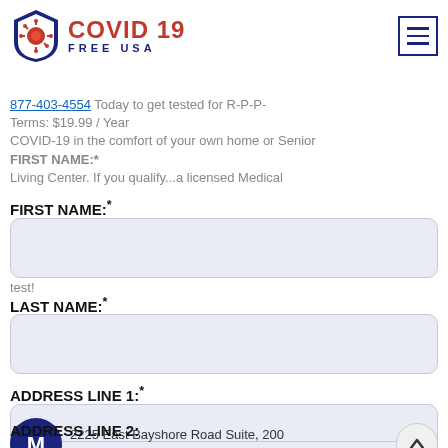[Figure (logo): COVID 19 FREE USA shield logo with virus icon, red and navy blue]
877-403-4554 Today to get tested for R-P-P- Terms: $19.99 / Year COVID-19 in the comfort of your own home or Senior Living Center. If you qualify...a licensed Medical test!
FIRST NAME:*
LAST NAME:*
ADDRESS LINE 1:*
ADDRESS LINE 2:
2225 East Bayshore Road Suite, 200
Palo Alto, Ca 94303
CITY:*